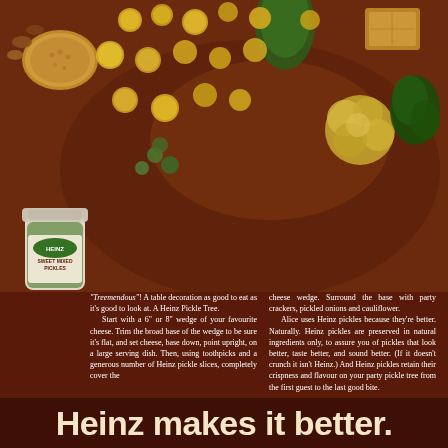[Figure (photo): Vintage food photograph showing a wooden serving board with pickled onions/gherkins, cauliflower florets, broccoli, crackers, pecans, and a jar of Heinz Sweet Mixed Pickles arranged as a party spread on a dark red/brown background.]
"Treemendous"! A table decoration as good to eat as it's good to look at. A Heinz Pickle Tree. Start with a 6" or 8" wedge of your favourite cheese. Trim the broad base of the wedge to be sure it's flat, and set cheese, base down, point upright, on a large serving dish. Then, using toothpicks and a generous number of Heinz pickle slices, completely cover the cheese wedge. Surround the base with party crackers, pickled onions and cauliflower. Alice uses Heinz pickles because they're better. Naturally. Heinz pickles are preserved in natural ingredients only, to assure you of pickles that look better, taste better, and sound better. (If it doesn't crunch it isn't Heinz.) And Heinz pickles retain their crispness and flavour on your party pickle tree from the first guest to the last good bite.
Heinz makes it better.